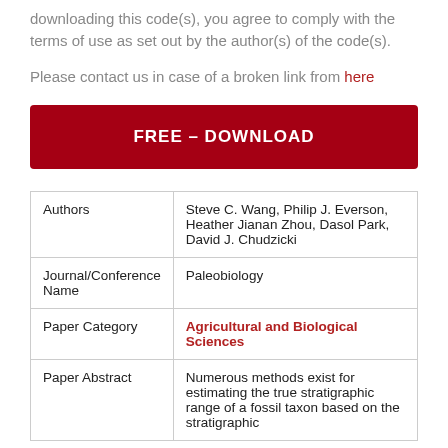downloading this code(s), you agree to comply with the terms of use as set out by the author(s) of the code(s).
Please contact us in case of a broken link from here
FREE – DOWNLOAD
| Authors | Steve C. Wang, Philip J. Everson, Heather Jianan Zhou, Dasol Park, David J. Chudzicki |
| Journal/Conference Name | Paleobiology |
| Paper Category | Agricultural and Biological Sciences |
| Paper Abstract | Numerous methods exist for estimating the true stratigraphic range of a fossil taxon based on the stratigraphic... |